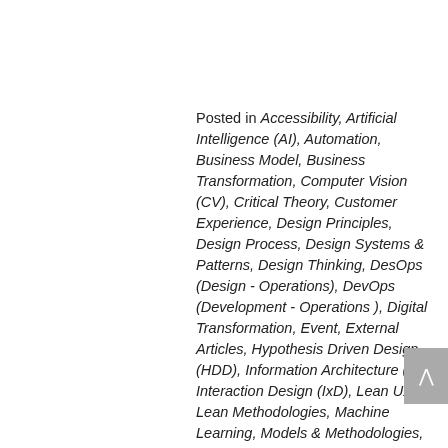Posted in Accessibility, Artificial Intelligence (AI), Automation, Business Model, Business Transformation, Computer Vision (CV), Critical Theory, Customer Experience, Design Principles, Design Process, Design Systems & Patterns, Design Thinking, DesOps (Design - Operations), DevOps (Development - Operations ), Digital Transformation, Event, External Articles, Hypothesis Driven Design (HDD), Information Architecture (IA), Interaction Design (IxD), Lean UX / Lean Methodologies, Machine Learning, Models & Methodologies, Ontology, Process Re-engineering, Product Management, Product Strategy, Service Design, Socio-Cultural User Experience (SX), Software Development Life Cycle (SDLC), User Experience (UX), User-centered Design (UCD)    Tagged conference, design, design-automation, designops,